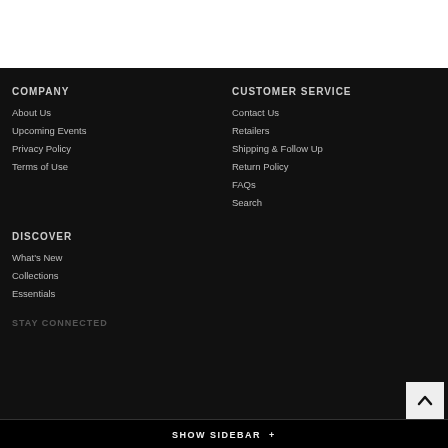COMPANY
About Us
Upcoming Events
Privacy Policy
Terms of Use
CUSTOMER SERVICE
Contact Us
Retailers
Shipping & Follow Up
Return Policy
FAQs
Search
DISCOVER
What's New
Collections
Essentials
STAY CONNECTED
SHOW SIDEBAR +